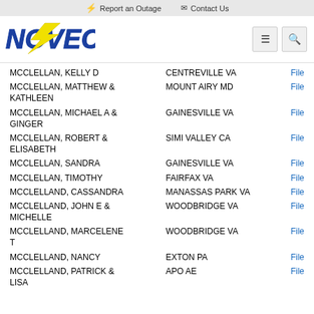⚡ Report an Outage   ✉ Contact Us
[Figure (logo): NOVEC electric cooperative logo — blue stylized letters with yellow lightning bolt]
| Name | Location | Action |
| --- | --- | --- |
| MCCLELLAN, KELLY D | CENTREVILLE VA | File |
| MCCLELLAN, MATTHEW & KATHLEEN | MOUNT AIRY MD | File |
| MCCLELLAN, MICHAEL A & GINGER | GAINESVILLE VA | File |
| MCCLELLAN, ROBERT & ELISABETH | SIMI VALLEY CA | File |
| MCCLELLAN, SANDRA | GAINESVILLE VA | File |
| MCCLELLAN, TIMOTHY | FAIRFAX VA | File |
| MCCLELLAND, CASSANDRA | MANASSAS PARK VA | File |
| MCCLELLAND, JOHN E & MICHELLE | WOODBRIDGE VA | File |
| MCCLELLAND, MARCELENE T | WOODBRIDGE VA | File |
| MCCLELLAND, NANCY | EXTON PA | File |
| MCCLELLAND, PATRICK & LISA | APO AE | File |